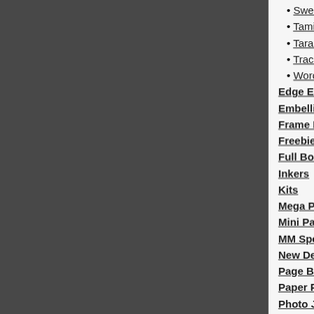Sweet Poppy Studio
Tami Miller Designs
Tara Reed Designs
Traci Murphy
Word Art World
Edge Effects/Masks
Embellishment Packs
Frame Packs
Freebies
Full Book QuickMixes
Inkers
Kits
Mega Packs
Mini Packs
MM Specialty Fonts
New Designs
Page Builder QuickMixes
Paper Packs
Photo Jurni TM
Photo Templates
Pocket Book Projects
Printables
Project 365/week-year projects
Project Patterns
Quick Page QuickMixes
Quick Pages
QuickMixes
Shapes
Price: $3...
The Li... Decem... Pack
by Lasti...
Price: $3...